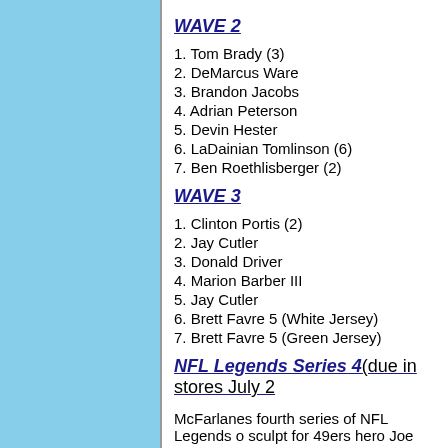WAVE 2
1. Tom Brady (3)
2. DeMarcus Ware
3. Brandon Jacobs
4. Adrian Peterson
5. Devin Hester
6. LaDainian Tomlinson (6)
7. Ben Roethlisberger (2)
WAVE 3
1. Clinton Portis (2)
2. Jay Cutler
3. Donald Driver
4. Marion Barber III
5. Jay Cutler
6. Brett Favre 5 (White Jersey)
7. Brett Favre 5 (Green Jersey)
NFL Legends Series 4(due in stores July 2
McFarlanes fourth series of NFL Legends o sculpt for 49ers hero Joe Montana.
1. Joe Montana 2, San Francisco 49ers
2. Howie Long, Oakland/Los Angeles Raider